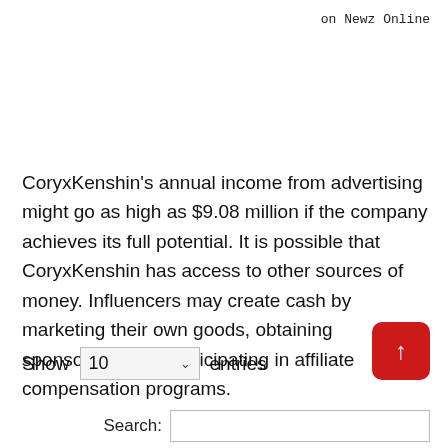on Newz Online
CoryxKenshin's annual income from advertising might go as high as $9.08 million if the company achieves its full potential. It is possible that CoryxKenshin has access to other sources of money. Influencers may create cash by marketing their own goods, obtaining sponsorships, or participating in affiliate compensation programs.
Show 10 entries
Search: